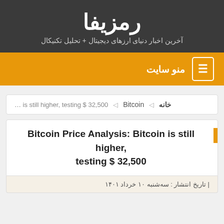رمزیفا
آخرین اخبار دنیای ارزهای دیجیتال + تحلیل تکنیکال
منو سایت
خانه ◁ Bitcoin ◁ … is still higher, testing $ 32,500
Bitcoin Price Analysis: Bitcoin is still higher, testing $ 32,500
| تاریخ انتشار : سه‌شنبه ۱۰ خرداد ۱۴۰۱